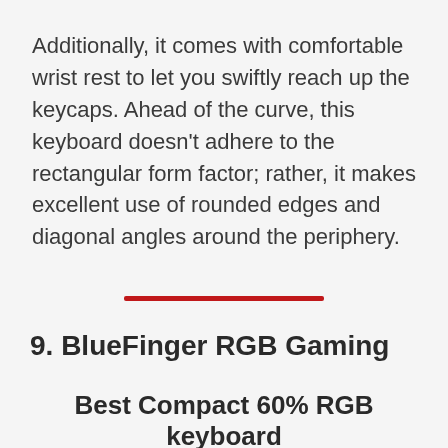Additionally, it comes with comfortable wrist rest to let you swiftly reach up the keycaps. Ahead of the curve, this keyboard doesn't adhere to the rectangular form factor; rather, it makes excellent use of rounded edges and diagonal angles around the periphery.
[Figure (other): A red horizontal divider line separating sections]
9. BlueFinger RGB Gaming
Best Compact 60% RGB keyboard